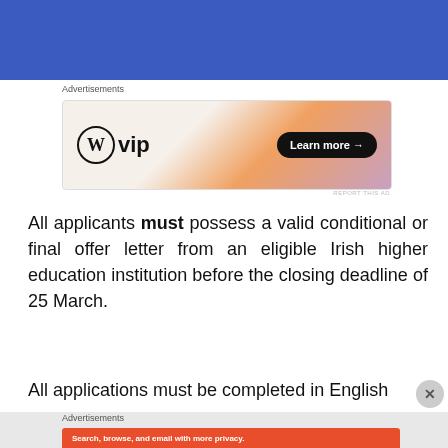[Figure (screenshot): Blue website header banner]
Advertisements
[Figure (screenshot): WordPress VIP advertisement banner with Learn more button]
All applicants must possess a valid conditional or final offer letter from an eligible Irish higher education institution before the closing deadline of 25 March.
All applications must be completed in English
Advertisements
[Figure (screenshot): DuckDuckGo advertisement: Search, browse, and email with more privacy. All in One Free App.]